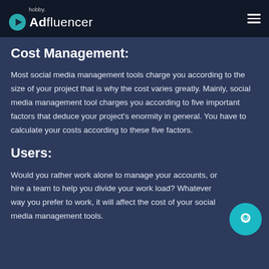hobby. Adfluencer
Cost Management:
Most social media management tools charge you according to the size of your project that is why the cost varies greatly. Mainly, social media management tool charges you according to five important factors that deduce your project's enormity in general. You have to calculate your costs according to these five factors.
Users:
Would you rather work alone to manage your accounts, or hire a team to help you divide your work load? Whatever way you prefer to work, it will affect the cost of your social media management tools.